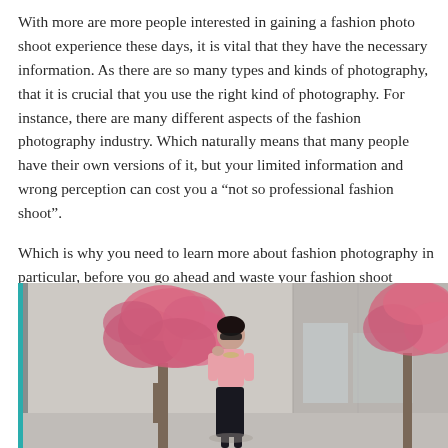With more are more people interested in gaining a fashion photo shoot experience these days, it is vital that they have the necessary information. As there are so many types and kinds of photography, that it is crucial that you use the right kind of photography. For instance, there are many different aspects of the fashion photography industry. Which naturally means that many people have their own versions of it, but your limited information and wrong perception can cost you a “not so professional fashion shoot”.
Which is why you need to learn more about fashion photography in particular, before you go ahead and waste your fashion shoot experience.
[Figure (photo): A fashion photo shoot scene outdoors showing a woman in a pink top and dark skirt posing with sunglasses in front of cherry blossom trees against a light concrete wall background.]